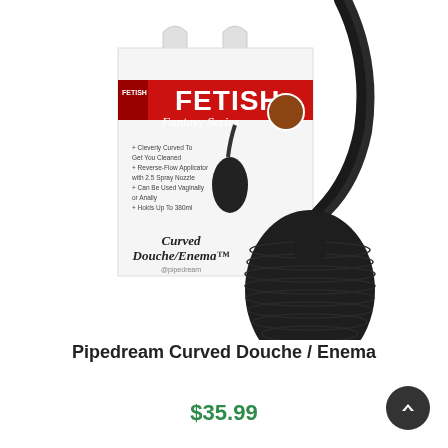[Figure (photo): Product photo showing a black Pipedream Curved Douche/Enema device next to its retail packaging box labeled 'Fetish Fantasy Series Curved Douche/Enema'. The device is a black silicone bulb with a curved nozzle tube.]
Pipedream Curved Douche / Enema
$35.99